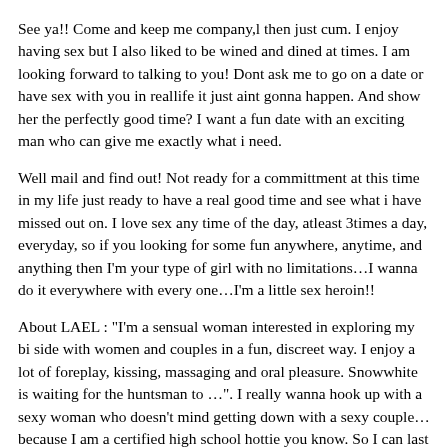See ya!! Come and keep me company,l then just cum. I enjoy having sex but I also liked to be wined and dined at times. I am looking forward to talking to you! Dont ask me to go on a date or have sex with you in reallife it just aint gonna happen. And show her the perfectly good time? I want a fun date with an exciting man who can give me exactly what i need.
Well mail and find out! Not ready for a committment at this time in my life just ready to have a real good time and see what i have missed out on. I love sex any time of the day, atleast 3times a day, everyday, so if you looking for some fun anywhere, anytime, and anything then I'm your type of girl with no limitations…I wanna do it everywhere with every one…I'm a little sex heroin!!
About LAEL : "I'm a sensual woman interested in exploring my bi side with women and couples in a fun, discreet way. I enjoy a lot of foreplay, kissing, massaging and oral pleasure. Snowwhite is waiting for the huntsman to …". I really wanna hook up with a sexy woman who doesn't mind getting down with a sexy couple… because I am a certified high school hottie you know. So I can last for hours and hours and plenty of hot orgasms too!! I go to college next fall so I need my ass to be satisfied really fast. About JUNKO : "hey I am looking for some fun an excitement in my as of lately somewhat boring life. Machine has sent too she has to elon make